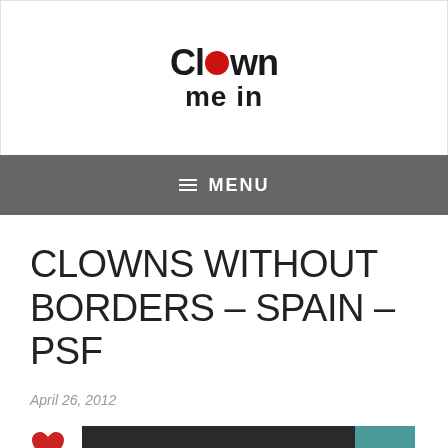Clown me in
≡ MENU
CLOWNS WITHOUT BORDERS – SPAIN – PSF
April 26, 2012
[Figure (photo): Heart icon and a dark photograph showing a sign (partially readable) with colored lights and a teal-colored section on the right side.]